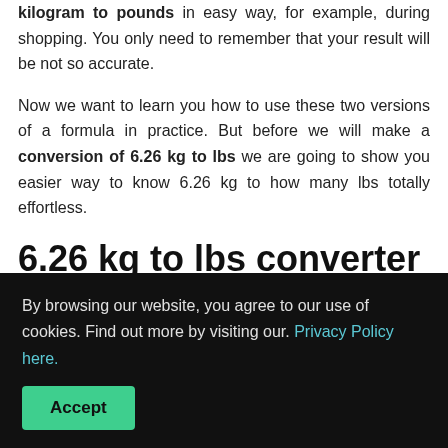kilogram to pounds in easy way, for example, during shopping. You only need to remember that your result will be not so accurate.
Now we want to learn you how to use these two versions of a formula in practice. But before we will make a conversion of 6.26 kg to lbs we are going to show you easier way to know 6.26 kg to how many lbs totally effortless.
6.26 kg to lbs converter
Another way to calculate 6.26 kilograms to pounds is...
By browsing our website, you agree to our use of cookies. Find out more by visiting our. Privacy Policy here. [Accept]
version of a formula which we gave you above. Due to